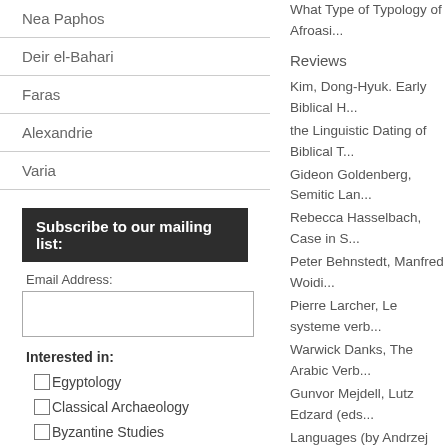Nea Paphos
Deir el-Bahari
Faras
Alexandrie
Varia
Subscribe to our mailing list:
Email Address:
Interested in:
Egyptology
Classical Archaeology
Byzantine Studies
New World Archaeology
New Acquisitions
General Interest
Sales&Discounts
Reviews
What Type of Typology of Afroasiatic...
Kim, Dong-Hyuk. Early Biblical H...
the Linguistic Dating of Biblical T...
Gideon Goldenberg, Semitic Lan...
Rebecca Hasselbach, Case in S...
Peter Behnstedt, Manfred Woidi...
Pierre Larcher, Le systeme verb...
Warwick Danks, The Arabic Verb...
Gunvor Mejdell, Lutz Edzard (eds...
Languages (by Andrzej Zaborski...
Abulhayr Al-Isbili (s. V/XI), Kitabu...
Anna Krasnowolska, Mythes, cro...
Pisowicz)
Chat with us
Bib...
Josephus Barbatus Maltese and ...
Veronika Ritt-Benmimoun, Texte...